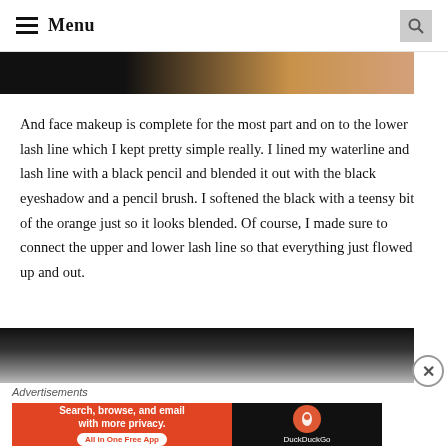Menu
[Figure (photo): Close-up photo of face makeup showing skin tone transitioning from dark shadow on left to warm skin tone on right]
And face makeup is complete for the most part and on to the lower lash line which I kept pretty simple really. I lined my waterline and lash line with a black pencil and blended it out with the black eyeshadow and a pencil brush. I softened the black with a teensy bit of the orange just so it looks blended. Of course, I made sure to connect the upper and lower lash line so that everything just flowed up and out.
[Figure (photo): Close-up photo of eye area showing lash line with dark eyeshadow blended out]
Advertisements
[Figure (screenshot): DuckDuckGo advertisement banner: Search, browse, and email with more privacy. All in One Free App]